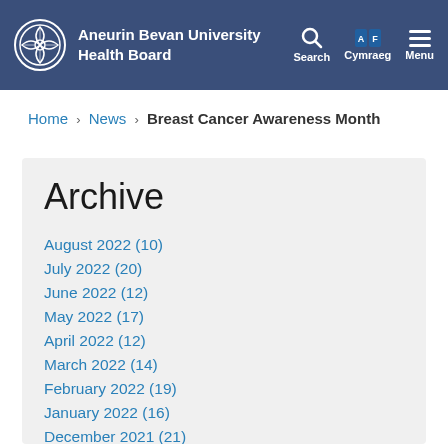Aneurin Bevan University Health Board
Home › News › Breast Cancer Awareness Month
Archive
August 2022 (10)
July 2022 (20)
June 2022 (12)
May 2022 (17)
April 2022 (12)
March 2022 (14)
February 2022 (19)
January 2022 (16)
December 2021 (21)